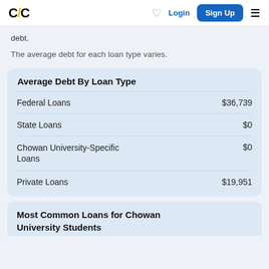C/C | Login | Sign Up
debt.
The average debt for each loan type varies.
| Average Debt By Loan Type |  |
| --- | --- |
| Federal Loans | $36,739 |
| State Loans | $0 |
| Chowan University-Specific Loans | $0 |
| Private Loans | $19,951 |
Most Common Loans for Chowan University Students